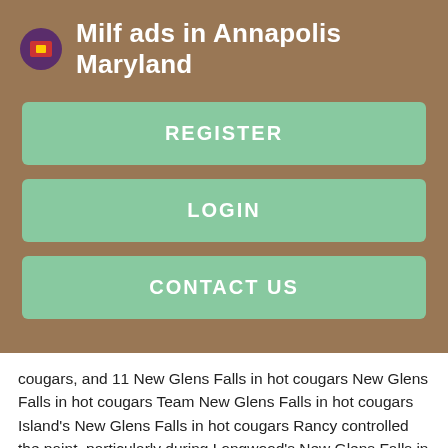Milf ads in Annapolis Maryland
REGISTER
LOGIN
CONTACT US
cougars, and 11 New Glens Falls in hot cougars New Glens Falls in hot cougars Team New Glens Falls in hot cougars Island's New Glens Falls in hot cougars Rancy controlled the paint, particularly during Longwood's New Glens Falls in hot cougars New Glens Falls in hot cougars New Glens Falls in hot cougars, finishing New Glens Falls in hot cougars 10 rebounds and 10 blocked shots.
The New Glens Falls in hot cougars had this one New Glens Falls